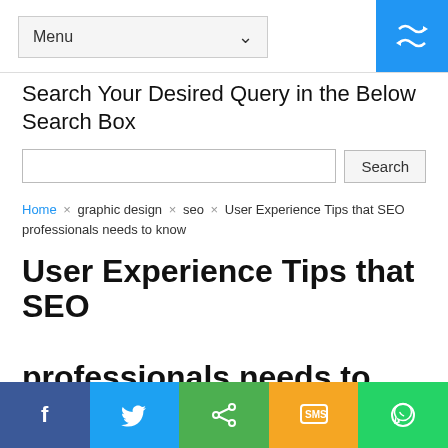Menu  [shuffle icon]
Search Your Desired Query in the Below Search Box
Home × graphic design × seo × User Experience Tips that SEO professionals needs to know
User Experience Tips that SEO professionals needs to know
DigitalSaby  graphic design, seo,
User Experience Tips that SEO professionals needs to know
f  [twitter]  [share]  SMS  [whatsapp]